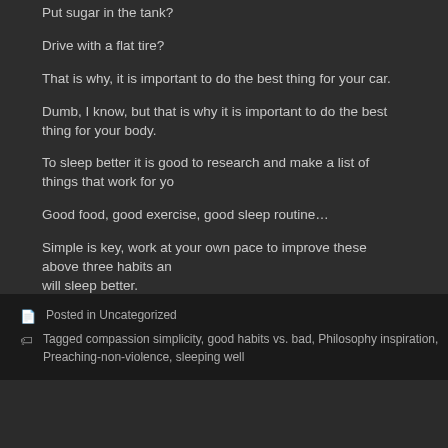Put sugar in the tank?
Drive with a flat tire?
That is why, it is important to do the best thing for your car.
Dumb, I know, but that is why it is important to do the best thing for your body.
To sleep better it is good to research and make a list of things that work for you.
Good food, good exercise, good sleep routine…
Simple is key, work at your own pace to improve these above three habits and will sleep better.
And remember to check with your doctor if you can't improve.
Posted in Uncategorized
Tagged compassion simplicity, good habits vs. bad, Philosophy inspiration, Preaching-non-violence, sleeping well